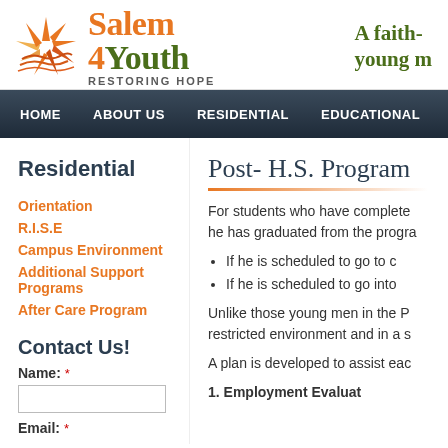[Figure (logo): Salem 4 Youth logo with orange sunburst graphic and green text reading 'Salem 4 Youth RESTORING HOPE']
A faith- young m
HOME   ABOUT US   RESIDENTIAL   EDUCATIONAL   VOCATIO
Residential
Orientation
R.I.S.E
Campus Environment
Additional Support Programs
After Care Program
Contact Us!
Name: *
Email: *
Post- H.S. Program
For students who have complete he has graduated from the progra
If he is scheduled to go to c
If he is scheduled to go into
Unlike those young men in the P restricted environment and in a s
A plan is developed to assist eac
1. Employment Evaluat